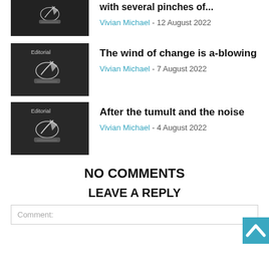[Figure (illustration): Editorial illustration: hand writing with pen on paper, dark background, partial view at top]
with several pinches of...
Vivian Michael - 12 August 2022
[Figure (illustration): Editorial illustration: hand writing with pen on paper, dark background, 'Editorial' label]
The wind of change is a-blowing
Vivian Michael - 7 August 2022
[Figure (illustration): Editorial illustration: hand writing with pen on paper, dark background, 'Editorial' label]
After the tumult and the noise
Vivian Michael - 4 August 2022
NO COMMENTS
LEAVE A REPLY
Comment: